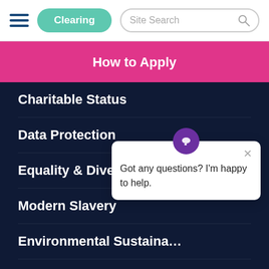[Figure (screenshot): Navigation bar with hamburger menu icon, Clearing button, and Site Search box]
How to Apply
Charitable Status
Data Protection
Equality & Diversity
Modern Slavery
Environmental Sustaina…
Help Centre
Students & Staff
Staff Area
Staff Directory
Got any questions? I'm happy to help.